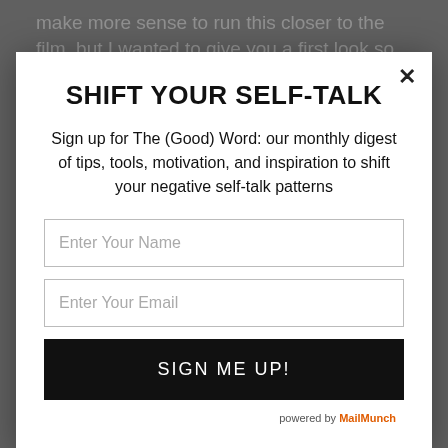make more sense to run this closer to the film, but I wanted to give you a first look so you can get on the
SHIFT YOUR SELF-TALK
Sign up for The (Good) Word: our monthly digest of tips, tools, motivation, and inspiration to shift your negative self-talk patterns
Enter Your Name
Enter Your Email
SIGN ME UP!
powered by MailMunch
WANT KOMAI :